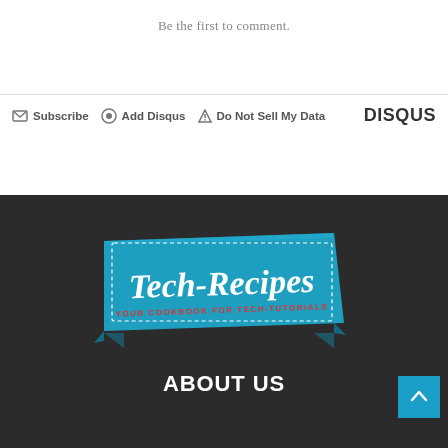Be the first to comment.
Subscribe  Add Disqus  Do Not Sell My Data  DISQUS
[Figure (logo): Tech-Recipes logo — teal ribbon banner with white cursive text 'Tech-Recipes' and red subtitle 'YOUR COOKBOOK FOR TECH-TUTORIALS']
ABOUT US